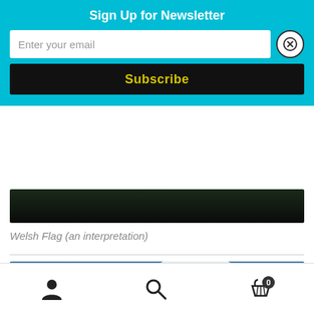Sign Up for Newsletter
Enter your email
Subscribe
[Figure (photo): Bottom portion of a dark landscape painting (Welsh Flag) cropped, showing mostly dark/black tones]
Welsh Flag (an interpretation)
[Figure (photo): Oil painting of dramatic rocky mountain peaks with a stormy blue and grey sky, with green and ochre lichen on the rocks]
[Figure (other): Bottom navigation toolbar with person/account icon, search magnifier icon, and shopping basket icon with badge showing 0]